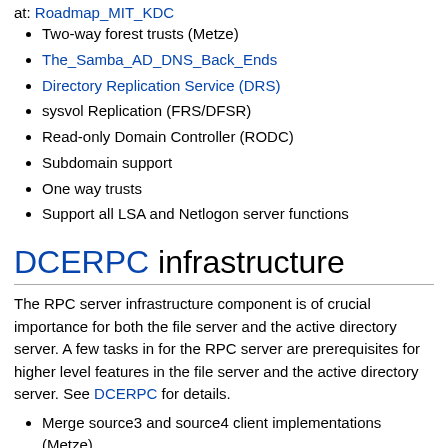at: Roadmap_MIT_KDC
Two-way forest trusts (Metze)
The_Samba_AD_DNS_Back_Ends
Directory Replication Service (DRS)
sysvol Replication (FRS/DFSR)
Read-only Domain Controller (RODC)
Subdomain support
One way trusts
Support all LSA and Netlogon server functions
DCERPC infrastructure
The RPC server infrastructure component is of crucial importance for both the file server and the active directory server. A few tasks in for the RPC server are prerequisites for higher level features in the file server and the active directory server. See DCERPC for details.
Merge source3 and source4 client implementations (Metze)
Make RPC client implementation fully asynchronuous